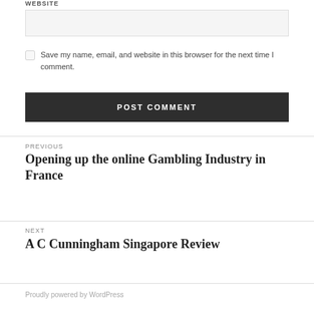WEBSITE
Save my name, email, and website in this browser for the next time I comment.
POST COMMENT
PREVIOUS
Opening up the online Gambling Industry in France
NEXT
A C Cunningham Singapore Review
Proudly powered by WordPress